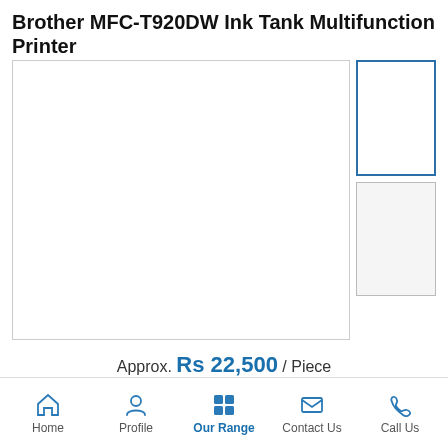Brother MFC-T920DW Ink Tank Multifunction Printer
[Figure (photo): Product image area with main large empty white box and two thumbnail boxes on the right (top thumbnail with blue border selected, bottom thumbnail smaller)]
Approx. Rs 22,500 / Piece
Model Name/Number: MFC-T920DW
Functions: Print | Scan | Cop...x
Home  Profile  Our Range  Contact Us  Call Us